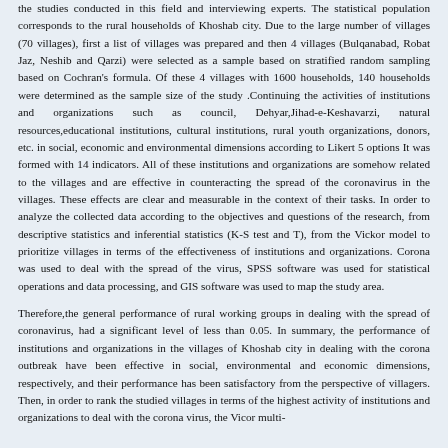the studies conducted in this field and interviewing experts. The statistical population corresponds to the rural households of Khoshab city. Due to the large number of villages (70 villages), first a list of villages was prepared and then 4 villages (Bulqanabad, Robat Jaz, Neshib and Qarzi) were selected as a sample based on stratified random sampling based on Cochran's formula. Of these 4 villages with 1600 households, 140 households were determined as the sample size of the study .Continuing the activities of institutions and organizations such as council, Dehyar,Jihad-e-Keshavarzi, natural resources,educational institutions, cultural institutions, rural youth organizations, donors, etc. in social, economic and environmental dimensions according to Likert 5 options It was formed with 14 indicators. All of these institutions and organizations are somehow related to the villages and are effective in counteracting the spread of the coronavirus in the villages. These effects are clear and measurable in the context of their tasks. In order to analyze the collected data according to the objectives and questions of the research, from descriptive statistics and inferential statistics (K-S test and T), from the Vickor model to prioritize villages in terms of the effectiveness of institutions and organizations. Corona was used to deal with the spread of the virus, SPSS software was used for statistical operations and data processing, and GIS software was used to map the study area.
Therefore,the general performance of rural working groups in dealing with the spread of coronavirus, had a significant level of less than 0.05. In summary, the performance of institutions and organizations in the villages of Khoshab city in dealing with the corona outbreak have been effective in social, environmental and economic dimensions, respectively, and their performance has been satisfactory from the perspective of villagers. Then, in order to rank the studied villages in terms of the highest activity of institutions and organizations to deal with the corona virus, the Vicor multi-